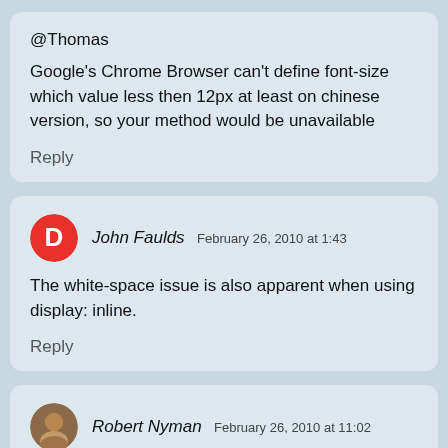@Thomas
Google's Chrome Browser can't define font-size which value less then 12px at least on chinese version, so your method would be unavailable
Reply
John Faulds  February 26, 2010 at 1:43
The white-space issue is also apparent when using display: inline.
Reply
Robert Nyman  February 26, 2010 at 11:02